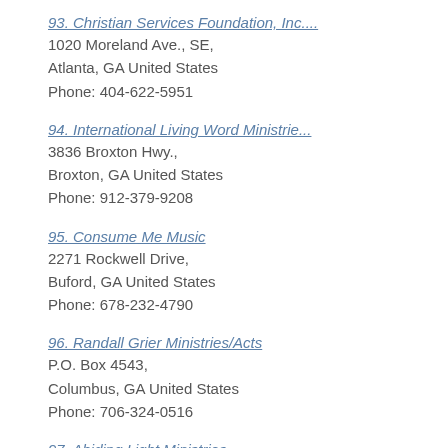93. Christian Services Foundation, Inc....
1020 Moreland Ave., SE,
Atlanta, GA United States
Phone: 404-622-5951
94. International Living Word Ministrie...
3836 Broxton Hwy.,
Broxton, GA United States
Phone: 912-379-9208
95. Consume Me Music
2271 Rockwell Drive,
Buford, GA United States
Phone: 678-232-4790
96. Randall Grier Ministries/Acts
P.O. Box 4543,
Columbus, GA United States
Phone: 706-324-0516
97. Abiding Light Ministries
PO Box 3083,
Kennesaw, GA United States
Phone: 770-426-0325